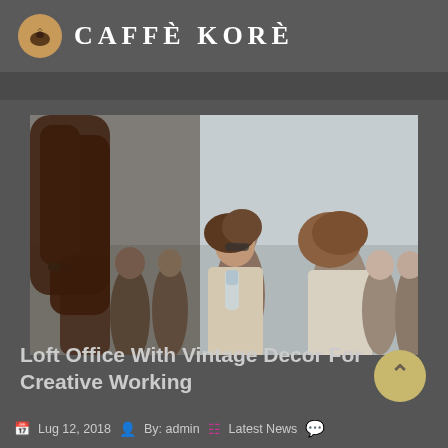CAFFÈ KORÈ
[Figure (photo): Crowd of young people at an outdoor festival, with a person raising their arm and others holding drinks, overcast sky in background]
Loft Office With Vintage Decor For Creative Working
Lug 12, 2018  By: admin  Latest News